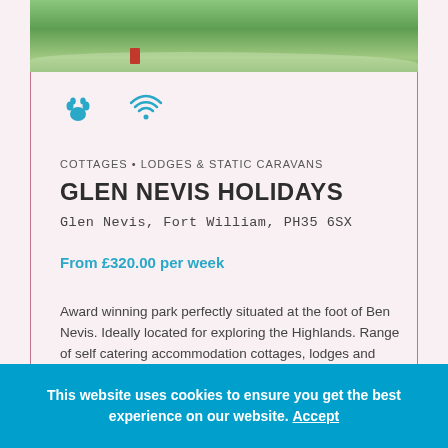[Figure (photo): Outdoor holiday park scene showing green grass, a path, a red postbox, and trees in the background]
[Figure (infographic): Two icons: a blue paw print icon and a blue WiFi icon indicating pet-friendly and WiFi amenities]
COTTAGES • LODGES & STATIC CARAVANS
GLEN NEVIS HOLIDAYS
Glen Nevis, Fort William, PH35 6SX
From £320.00 per week
Award winning park perfectly situated at the foot of Ben Nevis. Ideally located for exploring the Highlands. Range of self catering accommodation cottages, lodges and holiday homes - all furnished to a high standard and well equipped with kitch.
This website uses cookies to ensure you get the best experience on our website. Accept